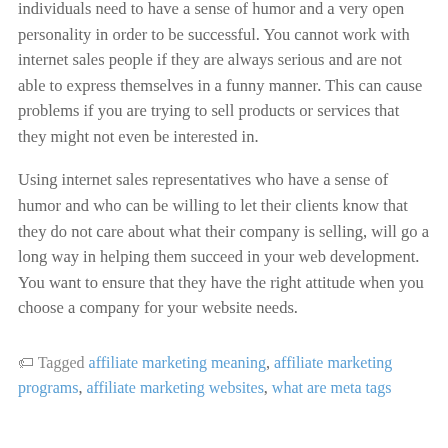individuals need to have a sense of humor and a very open personality in order to be successful. You cannot work with internet sales people if they are always serious and are not able to express themselves in a funny manner. This can cause problems if you are trying to sell products or services that they might not even be interested in.
Using internet sales representatives who have a sense of humor and who can be willing to let their clients know that they do not care about what their company is selling, will go a long way in helping them succeed in your web development. You want to ensure that they have the right attitude when you choose a company for your website needs.
Tagged affiliate marketing meaning, affiliate marketing programs, affiliate marketing websites, what are meta tags